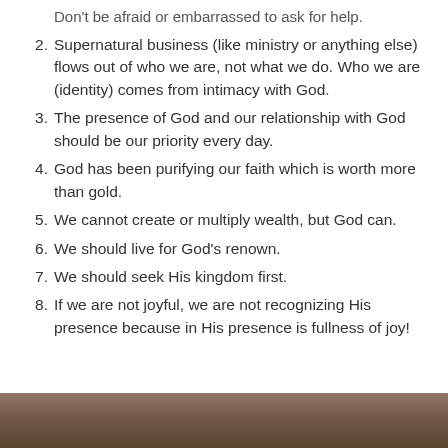Don’t be afraid or embarrassed to ask for help.
Supernatural business (like ministry or anything else) flows out of who we are, not what we do. Who we are (identity) comes from intimacy with God.
The presence of God and our relationship with God should be our priority every day.
God has been purifying our faith which is worth more than gold.
We cannot create or multiply wealth, but God can.
We should live for God’s renown.
We should seek His kingdom first.
If we are not joyful, we are not recognizing His presence because in His presence is fullness of joy!
[Figure (photo): Partial photo visible at the bottom of the page, appears to show people]